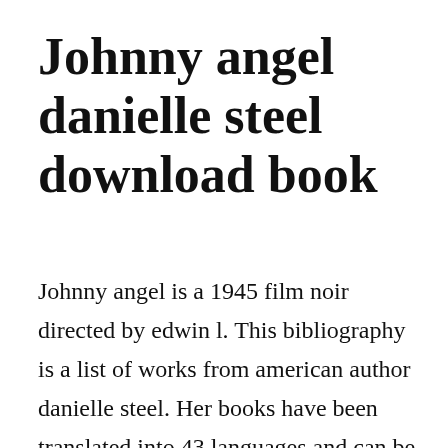Johnny angel danielle steel download book
Johnny angel is a 1945 film noir directed by edwin l. This bibliography is a list of works from american author danielle steel. Her books have been translated into 43 languages and can be found in 69 countries across the globe. Danielle steel books list of books by author danielle steel. Johnny angel with a